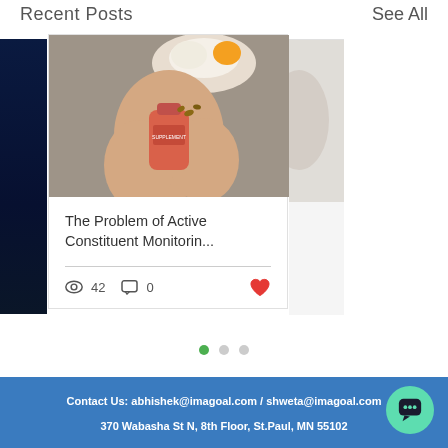Recent Posts   See All
[Figure (photo): Blog post card showing hands holding a supplement bottle over a plate with food, with post title 'The Problem of Active Constituent Monitorin...' and engagement stats: 42 views, 0 comments, heart icon]
The Problem of Active Constituent Monitorin...
42   0
Contact Us: abhishek@imagoal.com / shweta@imagoal.com
370 Wabasha St N, 8th Floor, St.Paul, MN 55102